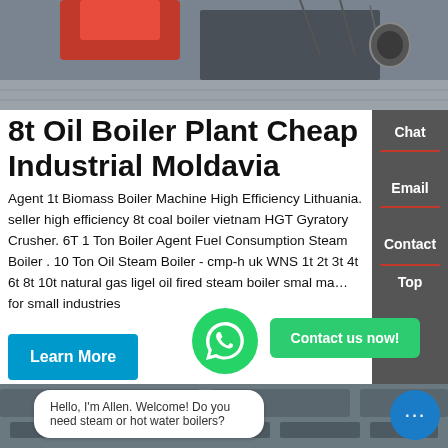[Figure (photo): Industrial boiler machinery close-up showing red and black metal parts, pipes, and equipment on a workshop floor.]
8t Oil Boiler Plant Cheap Industrial Moldavia
Agent 1t Biomass Boiler Machine High Efficiency Lithuania. seller high efficiency 8t coal boiler vietnam HGT Gyratory Crusher. 6T 1 Ton Boiler Agent Fuel Consumption Steam Boiler . 10 Ton Oil Steam Boiler - cmp-h uk WNS 1t 2t 3t 4t 6t 8t 10t natural gas light fuel oil fired steam boiler smal ma... for small industries
[Figure (photo): HVAC ductwork and ventilation pipes in an industrial setting, viewed from below.]
Hello, I'm Allen. Welcome! Do you need steam or hot water boilers?